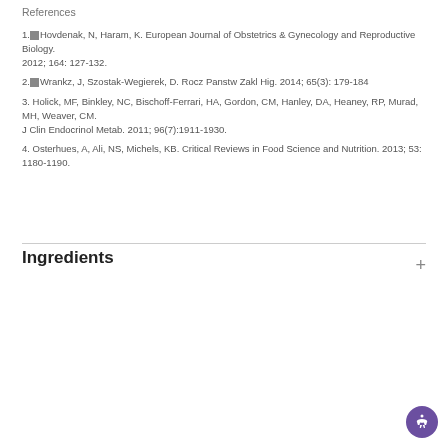References
1. Hovdenak, N, Haram, K. European Journal of Obstetrics & Gynecology and Reproductive Biology. 2012; 164: 127-132.
2. Wrankz, J, Szostak-Wegierek, D. Rocz Panstw Zakl Hig. 2014; 65(3): 179-184
3. Holick, MF, Binkley, NC, Bischoff-Ferrari, HA, Gordon, CM, Hanley, DA, Heaney, RP, Murad, MH, Weaver, CM. J Clin Endocrinol Metab. 2011; 96(7):1911-1930.
4. Osterhues, A, Ali, NS, Michels, KB. Critical Reviews in Food Science and Nutrition. 2013; 53: 1180-1190.
Ingredients